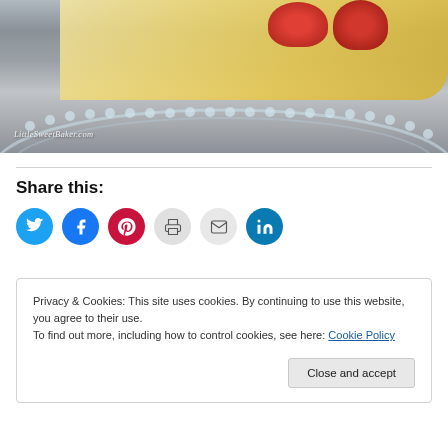[Figure (photo): Close-up photo of a dessert tart with cream filling and strawberries on a glass plate with beaded rim, on a wooden surface. Watermark reads LittleSweetBaker.com]
Share this:
[Figure (infographic): Six circular social share buttons: Twitter (blue), Facebook (blue), Pinterest (red), Print (grey), Email (grey), LinkedIn (teal)]
Privacy & Cookies: This site uses cookies. By continuing to use this website, you agree to their use.
To find out more, including how to control cookies, see here: Cookie Policy
Close and accept